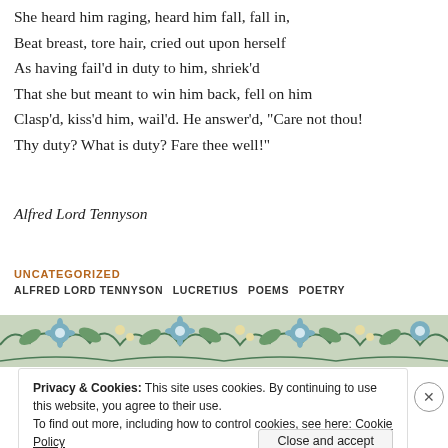She heard him raging, heard him fall, fall in,
Beat breast, tore hair, cried out upon herself
As having fail'd in duty to him, shriek'd
That she but meant to win him back, fell on him
Clasp'd, kiss'd him, wail'd. He answer'd, "Care not thou!
Thy duty? What is duty? Fare thee well!"
Alfred Lord Tennyson
UNCATEGORIZED
ALFRED LORD TENNYSON  LUCRETIUS  POEMS  POETRY
[Figure (illustration): Decorative floral band with blue flowers and green foliage on a light background]
Privacy & Cookies: This site uses cookies. By continuing to use this website, you agree to their use.
To find out more, including how to control cookies, see here: Cookie Policy